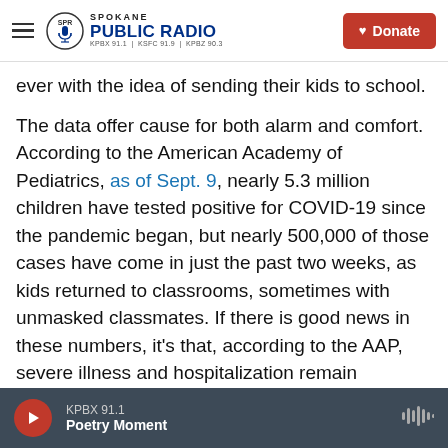Spokane Public Radio — KPBX 91.1 | KSFC 91.9 | KPBZ 90.3 | Donate
ever with the idea of sending their kids to school.
The data offer cause for both alarm and comfort. According to the American Academy of Pediatrics, as of Sept. 9, nearly 5.3 million children have tested positive for COVID-19 since the pandemic began, but nearly 500,000 of those cases have come in just the past two weeks, as kids returned to classrooms, sometimes with unmasked classmates. If there is good news in these numbers, it's that, according to the AAP, severe illness and hospitalization remain uncommon, and deaths are rarer still — just "0.00%-0.03[%] of all
KPBX 91.1 | Poetry Moment